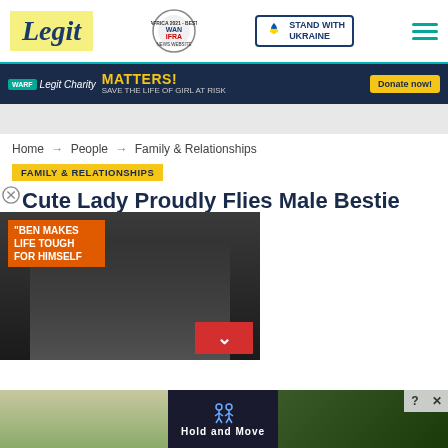Legit - Africa 2021 Best News Website in Africa - WAN-IFRA - STAND WITH UKRAINE
[Figure (screenshot): Banner advertisement: Legit Charity - MATTERS! SAVE THE LIFE OF GIRL AT RISK - Donate now!]
Home → People → Family & Relationships
FAMILY & RELATIONSHIPS
Cute Lady Proudly Flies Male Bestie on Expense Paid Trip, Showers Him with Gifts, Video
[Figure (screenshot): Video overlay with quote: BEN MAKES LIFE TOUGH FOR HIMSELF - play button visible. Red down arrow button. Bottom ad showing Hold and Move game advertisement.]